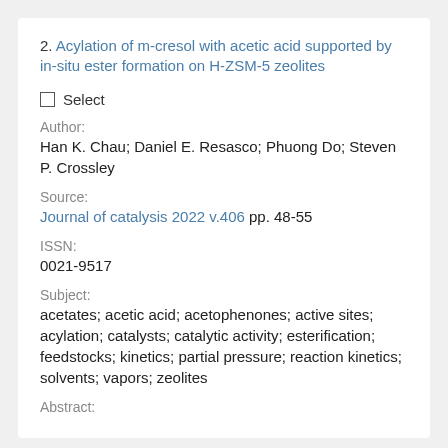2. Acylation of m-cresol with acetic acid supported by in-situ ester formation on H-ZSM-5 zeolites
☐ Select
Author:
Han K. Chau; Daniel E. Resasco; Phuong Do; Steven P. Crossley
Source:
Journal of catalysis 2022 v.406 pp. 48-55
ISSN:
0021-9517
Subject:
acetates; acetic acid; acetophenones; active sites; acylation; catalysts; catalytic activity; esterification; feedstocks; kinetics; partial pressure; reaction kinetics; solvents; vapors; zeolites
Abstract: